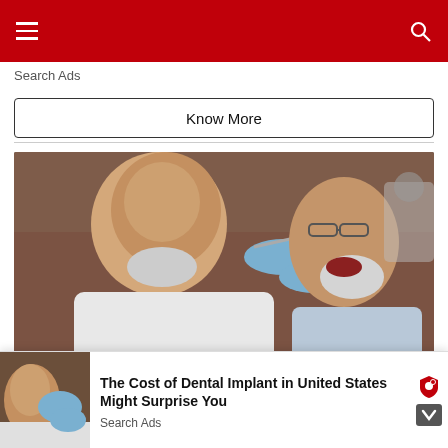Navigation header with hamburger menu and search icon
Search Ads
Know More
[Figure (photo): A bald dentist wearing blue gloves and a face mask examines the mouth of an elderly male patient wearing glasses, lying in a dental chair in a clinical setting.]
The Cost of Dental Implant in United States Might Surprise You
[Figure (photo): Small thumbnail of the same dental procedure photo showing a bald dentist and patient.]
The Cost of Dental Implant in United States Might Surprise You
Search Ads